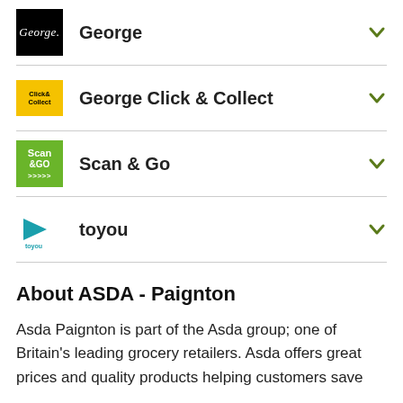George
George Click & Collect
Scan & Go
toyou
About ASDA - Paignton
Asda Paignton is part of the Asda group; one of Britain's leading grocery retailers. Asda offers great prices and quality products helping customers save